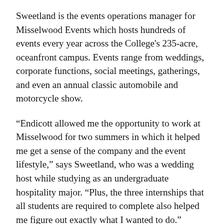Sweetland is the events operations manager for Misselwood Events which hosts hundreds of events every year across the College's 235-acre, oceanfront campus. Events range from weddings, corporate functions, social meetings, gatherings, and even an annual classic automobile and motorcycle show.
“Endicott allowed me the opportunity to work at Misselwood for two summers in which it helped me get a sense of the company and the event lifestyle,” says Sweetland, who was a wedding host while studying as an undergraduate hospitality major. “Plus, the three internships that all students are required to complete also helped me figure out exactly what I wanted to do.”